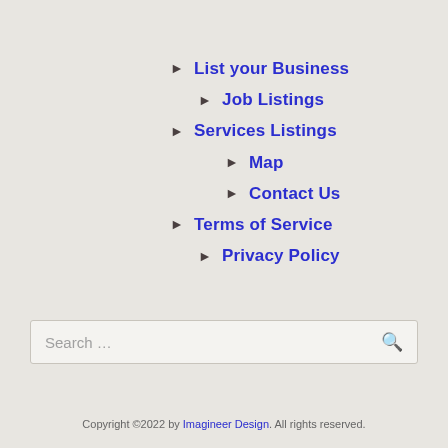List your Business
Job Listings
Services Listings
Map
Contact Us
Terms of Service
Privacy Policy
Search …
Copyright ©2022 by Imagineer Design. All rights reserved.